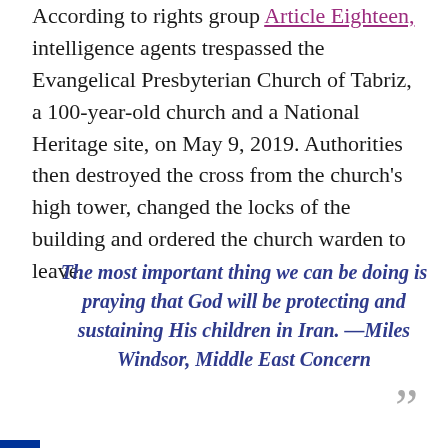According to rights group Article Eighteen, intelligence agents trespassed the Evangelical Presbyterian Church of Tabriz, a 100-year-old church and a National Heritage site, on May 9, 2019. Authorities then destroyed the cross from the church's high tower, changed the locks of the building and ordered the church warden to leave.
"The most important thing we can be doing is praying that God will be protecting and sustaining His children in Iran. —Miles Windsor, Middle East Concern"